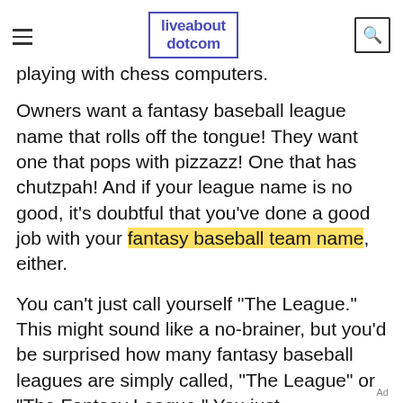liveabout dotcom
playing with chess computers.
Owners want a fantasy baseball league name that rolls off the tongue! They want one that pops with pizzazz! One that has chutzpah! And if your league name is no good, it's doubtful that you've done a good job with your fantasy baseball team name, either.
You can't just call yourself "The League." This might sound like a no-brainer, but you'd be surprised how many fantasy baseball leagues are simply called, "The League" or "The Fantasy League." You just can't do it... for several reasons